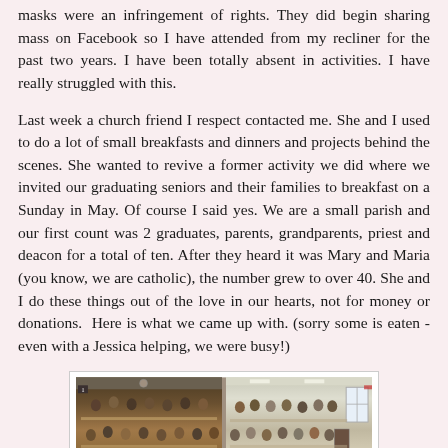masks were an infringement of rights. They did begin sharing mass on Facebook so I have attended from my recliner for the past two years. I have been totally absent in activities. I have really struggled with this.
Last week a church friend I respect contacted me. She and I used to do a lot of small breakfasts and dinners and projects behind the scenes. She wanted to revive a former activity we did where we invited our graduating seniors and their families to breakfast on a Sunday in May. Of course I said yes. We are a small parish and our first count was 2 graduates, parents, grandparents, priest and deacon for a total of ten. After they heard it was Mary and Maria (you know, we are catholic), the number grew to over 40. She and I do these things out of the love in our hearts, not for money or donations.  Here is what we came up with. (sorry some is eaten - even with a Jessica helping, we were busy!)
[Figure (photo): Two side-by-side photos of a church hall/cafeteria with people seated at long tables for a breakfast gathering. Left photo shows a darker room with people seated along tables. Right photo shows a brighter room with people seated at tables near windows.]